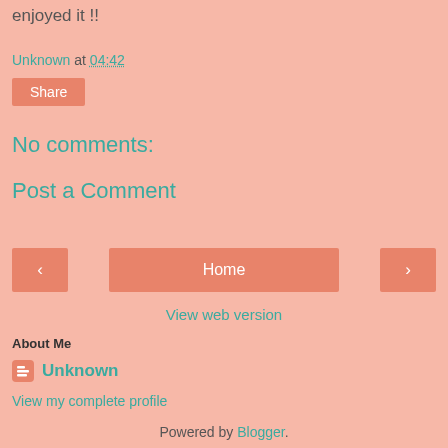enjoyed it !!
Unknown at 04:42
Share
No comments:
Post a Comment
< Home >
View web version
About Me
Unknown
View my complete profile
Powered by Blogger.